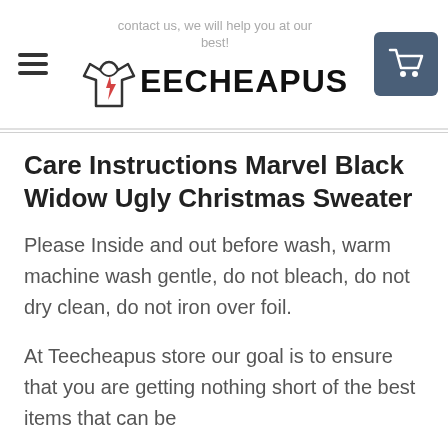contact us, we will help you at our best! TEECHEAPUS
Care Instructions Marvel Black Widow Ugly Christmas Sweater
Please Inside and out before wash, warm machine wash gentle, do not bleach, do not dry clean, do not iron over foil.
At Teecheapus store our goal is to ensure that you are getting nothing short of the best items that can be used for your next big Birthday...